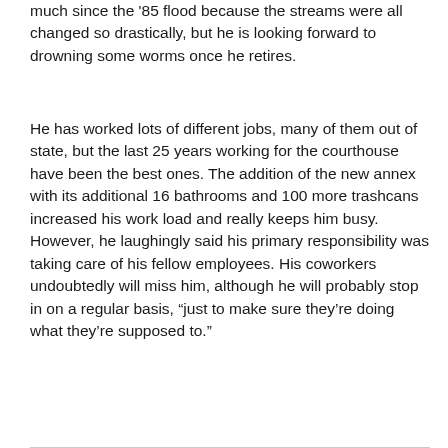much since the '85 flood because the streams were all changed so drastically, but he is looking forward to drowning some worms once he retires.
He has worked lots of different jobs, many of them out of state, but the last 25 years working for the courthouse have been the best ones. The addition of the new annex with its additional 16 bathrooms and 100 more trashcans increased his work load and really keeps him busy. However, he laughingly said his primary responsibility was taking care of his fellow employees. His coworkers undoubtedly will miss him, although he will probably stop in on a regular basis, “just to make sure they’re doing what they’re supposed to.”